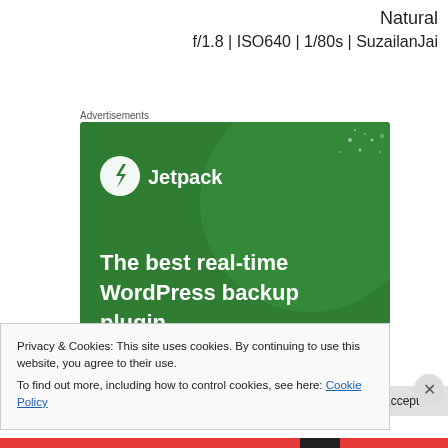Natural
f/1.8 | ISO640 | 1/80s | SuzailanJai
Advertisements
[Figure (screenshot): Jetpack advertisement banner: green background with large circle, Jetpack logo (lightning bolt in circle) and text 'The best real-time WordPress backup plugin']
Privacy & Cookies: This site uses cookies. By continuing to use this website, you agree to their use.
To find out more, including how to control cookies, see here: Cookie Policy
Close and accept